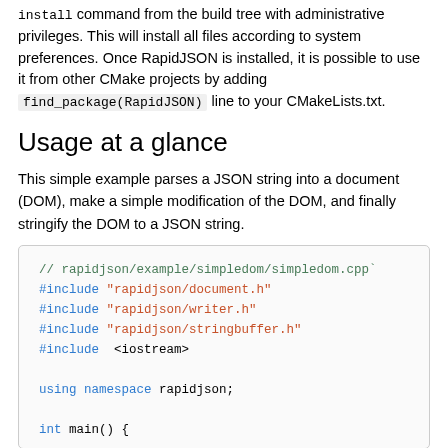install command from the build tree with administrative privileges. This will install all files according to system preferences. Once RapidJSON is installed, it is possible to use it from other CMake projects by adding find_package(RapidJSON) line to your CMakeLists.txt.
Usage at a glance
This simple example parses a JSON string into a document (DOM), make a simple modification of the DOM, and finally stringify the DOM to a JSON string.
// rapidjson/example/simpledom/simpledom.cpp`
#include "rapidjson/document.h"
#include "rapidjson/writer.h"
#include "rapidjson/stringbuffer.h"
#include <iostream>

using namespace rapidjson;

int main() {